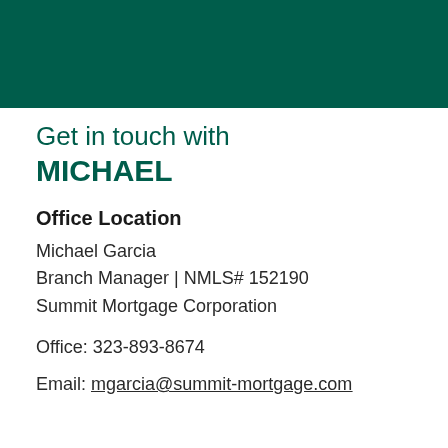[Figure (other): Dark teal/green header bar across the top of the page]
Get in touch with MICHAEL
Office Location
Michael Garcia
Branch Manager | NMLS# 152190
Summit Mortgage Corporation
Office: 323-893-8674
Email: mgarcia@summit-mortgage.com